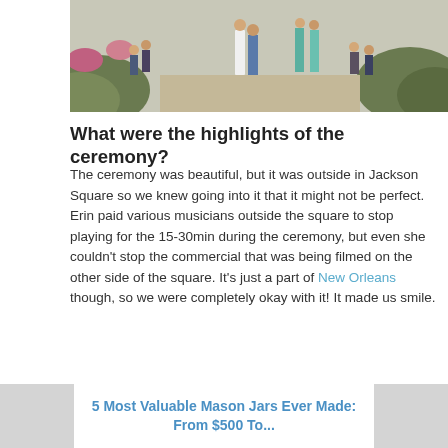[Figure (photo): Top portion of a wedding ceremony outdoor photo showing guests and the wedding party on a path lined with greenery]
What were the highlights of the ceremony?
The ceremony was beautiful, but it was outside in Jackson Square so we knew going into it that it might not be perfect. Erin paid various musicians outside the square to stop playing for the 15-30min during the ceremony, but even she couldn't stop the commercial that was being filmed on the other side of the square. It's just a part of New Orleans though, so we were completely okay with it! It made us smile.
[Figure (photo): Black and white photo of a bride wearing glasses and a white bow/headpiece, with guests around her]
5 Most Valuable Mason Jars Ever Made: From $500 To...